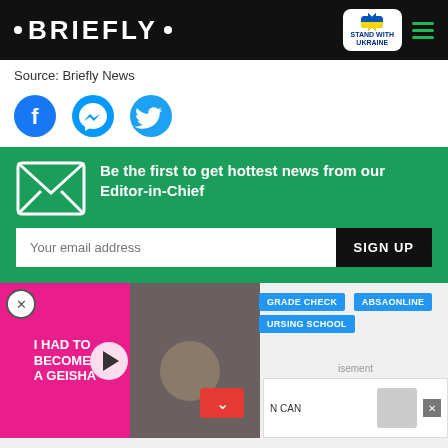• BRIEFLY •
Source: Briefly News
[Figure (other): Social sharing icons: Facebook, Messenger, Twitter]
Be the first to get hottest news from our Editor-in-Chief
Your email address | SIGN UP
[Figure (other): Video thumbnail with 'I HAD TO BECOME A GEISHA' text overlay and play button, alongside photo of couple]
GRADE CHECK   ABSAONLINE   URSING SCHOOL
[Figure (other): Advertisement: Save Up to 65% Leesburg Premium Outlets]